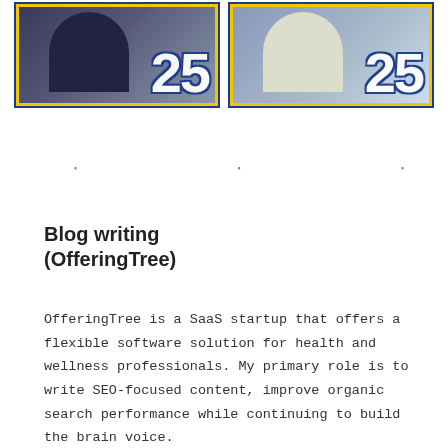[Figure (photo): Two side-by-side portrait photos, each framed with yellow and blue borders. Both feature a large stylized '25' number overlay in blue and white. Left photo shows a person in dark clothing against a dark background. Right photo shows a person in a light shirt against a light background.]
• • •
Blog writing (OfferingTree)
OfferingTree is a SaaS startup that offers a flexible software solution for health and wellness professionals. My primary role is to write SEO-focused content, improve organic search performance while continuing to build the brain voice.